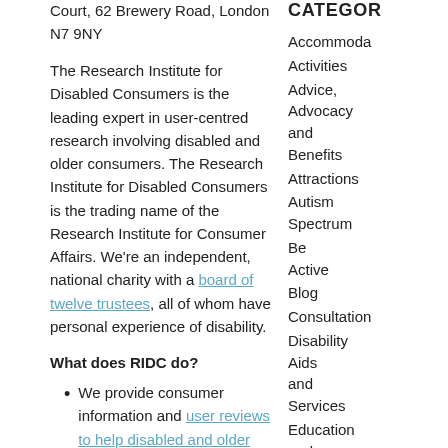Court, 62 Brewery Road, London N7 9NY
The Research Institute for Disabled Consumers is the leading expert in user-centred research involving disabled and older consumers. The Research Institute for Disabled Consumers is the trading name of the Research Institute for Consumer Affairs. We’re an independent, national charity with a board of twelve trustees, all of whom have personal experience of disability.
What does RIDC do?
We provide consumer information and user reviews to help disabled and older people choose the right products and services to lead an independent life
CATEGORIES
Accommodation
Activities
Advice, Advocacy and Benefits
Attractions
Autism Spectrum
Be Active
Blog
Consultation
Disability Aids and Services
Education and Training